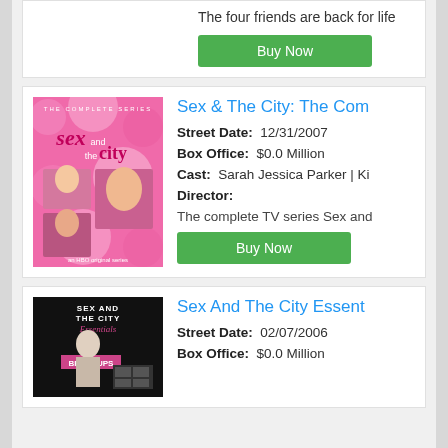The four friends are back for life
Buy Now
[Figure (photo): Sex and the City: The Complete Series DVD cover - pink background with cast photos]
Sex & The City: The Com
Street Date: 12/31/2007
Box Office: $0.0 Million
Cast: Sarah Jessica Parker | Ki
Director:
The complete TV series Sex and
Buy Now
[Figure (photo): Sex and the City Essentials Breakups - black and white cover]
Sex And The City Essent
Street Date: 02/07/2006
Box Office: $0.0 Million